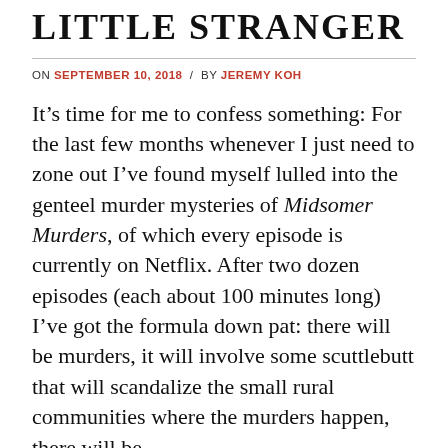LITTLE STRANGER
ON SEPTEMBER 10, 2018 / BY JEREMY KOH
It’s time for me to confess something: For the last few months whenever I just need to zone out I’ve found myself lulled into the genteel murder mysteries of Midsomer Murders, of which every episode is currently on Netflix. After two dozen episodes (each about 100 minutes long) I’ve got the formula down pat: there will be murders, it will involve some scuttlebutt that will scandalize the small rural communities where the murders happen, there will be